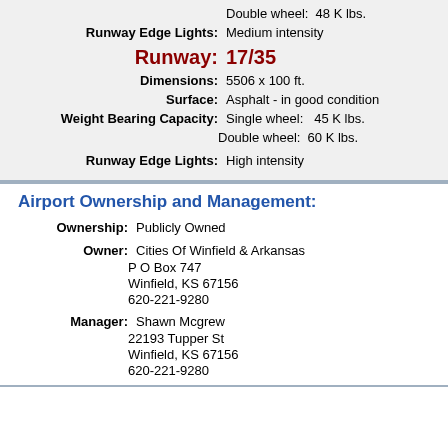Double wheel: 48 K lbs.
Runway Edge Lights: Medium intensity
Runway: 17/35
Dimensions: 5506 x 100 ft.
Surface: Asphalt - in good condition
Weight Bearing Capacity: Single wheel: 45 K lbs.
Double wheel: 60 K lbs.
Runway Edge Lights: High intensity
Airport Ownership and Management:
Ownership: Publicly Owned
Owner: Cities Of Winfield & Arkansas
P O Box 747
Winfield, KS 67156
620-221-9280
Manager: Shawn Mcgrew
22193 Tupper St
Winfield, KS 67156
620-221-9280